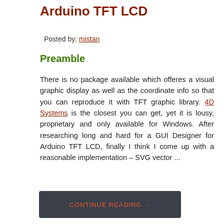Arduino TFT LCD
Posted by: mistan
Preamble
There is no package available which offeres a visual graphic display as well as the coordinate info so that you can reproduce it with TFT graphic library. 4D Systems is the closest you can get, yet it is lousy, proprietary and only available for Windows. After researching long and hard for a GUI Designer for Arduino TFT LCD, finally I think I come up with a reasonable implementation – SVG vector ...
CONTINUE READING →
arduino, Emacs, Org-Mode
gui, illustrator, inkscape, lcd, svg, tft, touchscreen